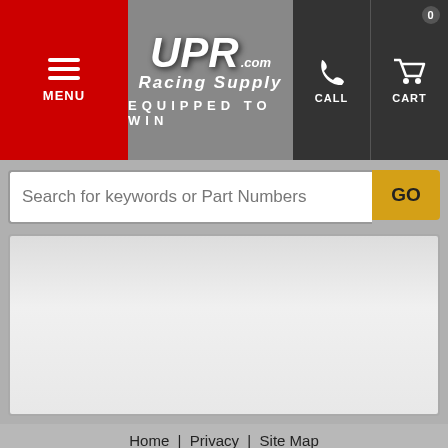[Figure (logo): UPR Racing Supply logo with hamburger menu, call and cart icons in header navigation bar]
Search for keywords or Part Numbers
[Figure (other): Empty content area with light gray background]
Home | Privacy | Site Map
Copyright © 2022 UPR Racing Supply. All Rights Reserved. Powered by